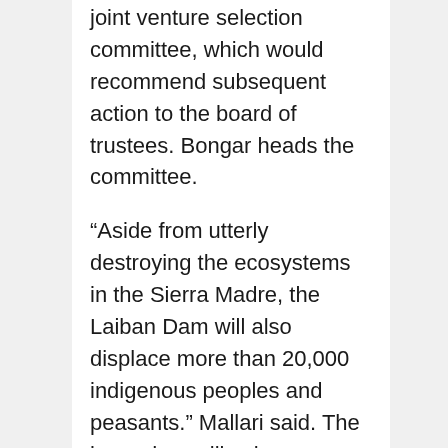joint venture selection committee, which would recommend subsequent action to the board of trustees. Bongar heads the committee.
“Aside from utterly destroying the ecosystems in the Sierra Madre, the Laiban Dam will also displace more than 20,000 indigenous peoples and peasants.” Mallari said. The large dam will submerge eight villages of mostly indigenous peoples in Tanay